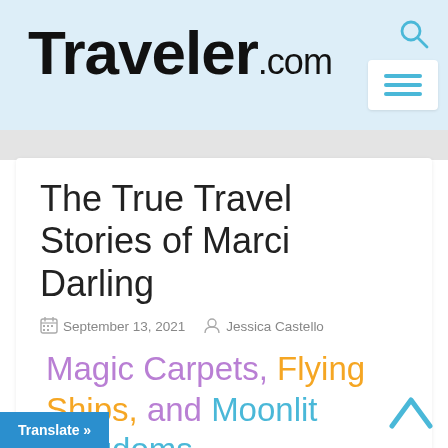Traveler.com
The True Travel Stories of Marci Darling
September 13, 2021  Jessica Castello
Magic Carpets, Flying Ships, and Moonlit Kingdoms.